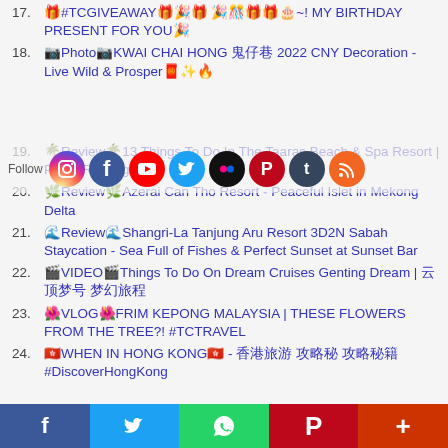17. 🎁#TCGIVEAWAY🎁🎉🎁 🎉🎊🎁🎁🎂~! MY BIRTHDAY PRESENT FOR YOU🎉
18. 📷Photo📷KWAI CHAI HONG 鬼仔巷 2022 CNY Decoration - Live Wild & Prosper🧧✨🔥
[Figure (infographic): Social media follow bar with icons: Instagram, Facebook, YouTube, Twitter, Flickr, Pinterest, Tumblr, RSS]
19. 🌴Review🌴13 Things To Do In The Taaras Beach & Spa Resort | Pulau Redang
20. 🌿Review🌿Azerai Can Tho Resort - Peaceful Islet in Mekong Delta
21. 🌊Review🌊Shangri-La Tanjung Aru Resort 3D2N Sabah Staycation - Sea Full of Fishes & Perfect Sunset at Sunset Bar
22. 🎬VIDEO🎬Things To Do On Dream Cruises Genting Dream | 云顶梦号 梦幻旅程
23. 🌺VLOG🌺FRIM KEPONG MALAYSIA | THESE FLOWERS FROM THE TREE?! #TCTRAVEL
24. 🇭🇰WHEN IN HONG KONG🇭🇰 - 香港旅游 攻略秘 攻略秘籍 #DiscoverHongKong
[Figure (infographic): Bottom sharing bar with Facebook, Twitter, WhatsApp, Pinterest, and More buttons]